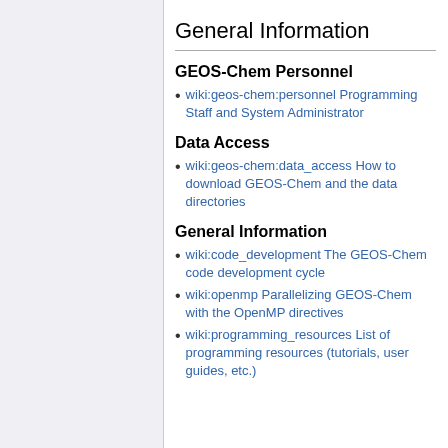General Information
GEOS-Chem Personnel
wiki:geos-chem:personnel Programming Staff and System Administrator
Data Access
wiki:geos-chem:data_access How to download GEOS-Chem and the data directories
General Information
wiki:code_development The GEOS-Chem code development cycle
wiki:openmp Parallelizing GEOS-Chem with the OpenMP directives
wiki:programming_resources List of programming resources (tutorials, user guides, etc.)